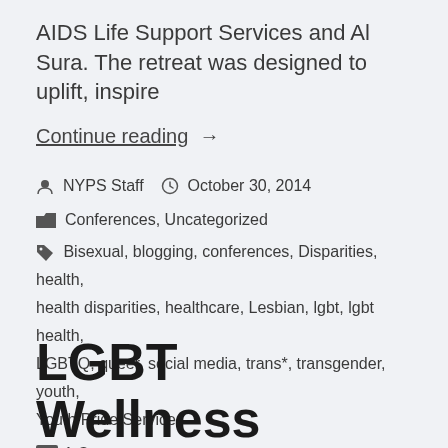AIDS Life Support Services and Al Sura. The retreat was designed to uplift, inspire
Continue reading  →
NYPS Staff   October 30, 2014
Conferences, Uncategorized
Bisexual, blogging, conferences, Disparities, health, health disparities, healthcare, Lesbian, lgbt, lgbt health, LGBTQ, queer, social media, trans*, transgender, youth, Youth Pride Services
1 Comment
LGBT Wellness